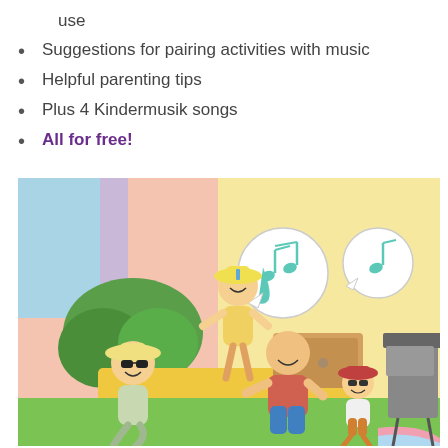use
Suggestions for pairing activities with music
Helpful parenting tips
Plus 4 Kindermusik songs
All for free!
[Figure (illustration): Cartoon illustration of a family dancing outdoors near a pool and barbecue grill, with musical notes shown in speech bubbles above a stereo speaker. Adults and children are happily dancing on a yellow patio.]